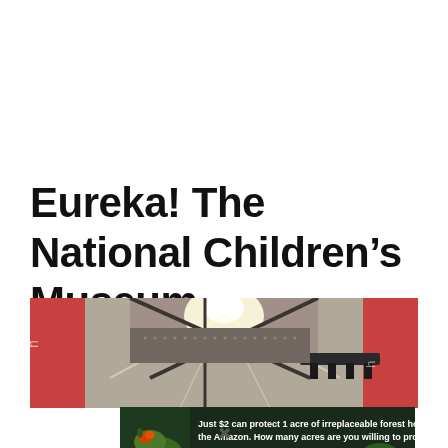Eureka! The National Children’s Museum
[Figure (photo): Interior view of the Eureka National Children's Museum showing high ceiling with lighting rigs, structural beams, and pink curved walls]
[Figure (infographic): Advertisement banner: dark green background with Amazon rainforest imagery. Text reads 'Just $2 can protect 1 acre of irreplaceable forest homes in the Amazon. How many acres are you willing to protect?' with a green button 'PROTECT FORESTS NOW']